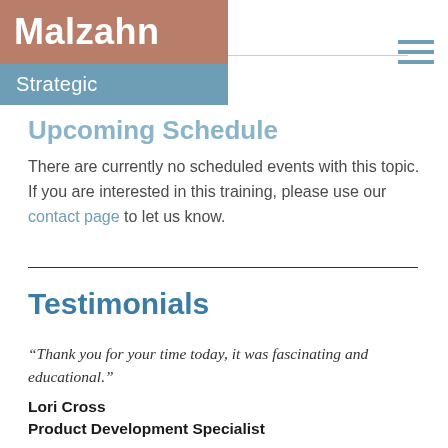Malzahn Strategic
Upcoming Schedule
There are currently no scheduled events with this topic. If you are interested in this training, please use our contact page to let us know.
Testimonials
“Thank you for your time today, it was fascinating and educational.”
Lori Cross
Product Development Specialist